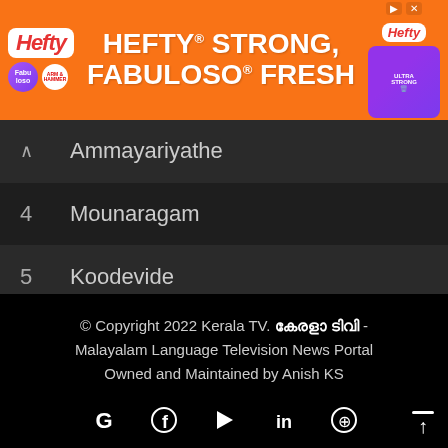[Figure (screenshot): Hefty advertising banner with orange background. Text reads HEFTY STRONG, FABULOSO FRESH with Hefty and Fabuloso logos and product image.]
Ammayariyathe
4  Mounaragam
5  Koodevide
© Copyright 2022 Kerala TV. കേരളാ ടിവി - Malayalam Language Television News Portal Owned and Maintained by Anish KS